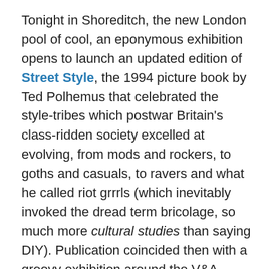Tonight in Shoreditch, the new London pool of cool, an eponymous exhibition opens to launch an updated edition of Street Style, the 1994 picture book by Ted Polhemus that celebrated the style-tribes which postwar Britain's class-ridden society excelled at evolving, from mods and rockers, to goths and casuals, to ravers and what he called riot grrrls (which inevitably invoked the dread term bricolage, so much more cultural studies than saying DIY). Publication coincided then with a groovy exhibition around the V&A costume court.
Images and graphics from the new Street Style inevitably feature many of our original Shapers of the 80s, if current Facebook twitterings are any indication. These are being exhibited (Sep 30-Oct 31) in the former Victorian warehouse in EC2 refurbished as The Book Club.